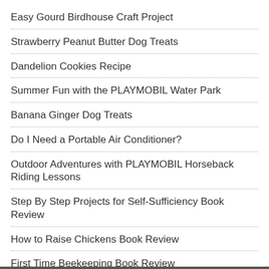Easy Gourd Birdhouse Craft Project
Strawberry Peanut Butter Dog Treats
Dandelion Cookies Recipe
Summer Fun with the PLAYMOBIL Water Park
Banana Ginger Dog Treats
Do I Need a Portable Air Conditioner?
Outdoor Adventures with PLAYMOBIL Horseback Riding Lessons
Step By Step Projects for Self-Sufficiency Book Review
How to Raise Chickens Book Review
First Time Beekeeping Book Review